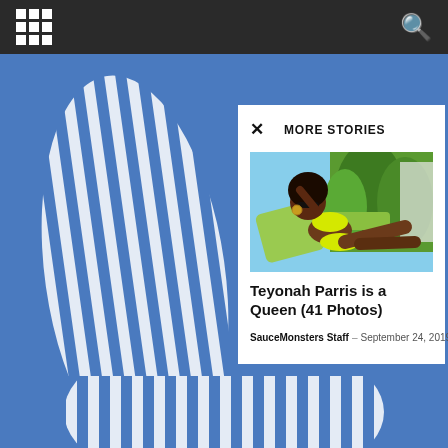Navigation bar with grid menu icon and search icon
[Figure (screenshot): Website screenshot showing a 'More Stories' modal overlay on a blue background with striped clothing figure. The modal shows a photo of Teyonah Parris in a yellow bikini lounging on a green chair outdoors.]
Teyonah Parris is a Queen (41 Photos)
SauceMonsters Staff - September 24, 2019